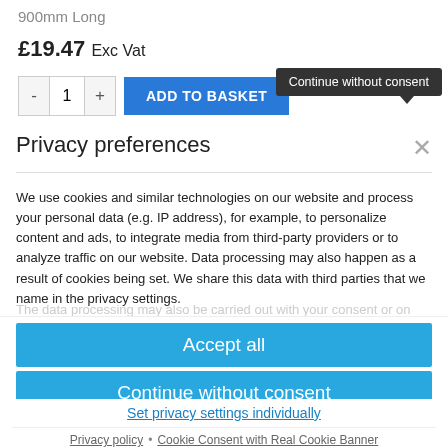900mm Long
£19.47 Exc Vat
- 1 + ADD TO BASKET
Continue without consent
Privacy preferences
We use cookies and similar technologies on our website and process your personal data (e.g. IP address), for example, to personalize content and ads, to integrate media from third-party providers or to analyze traffic on our website. Data processing may also happen as a result of cookies being set. We share this data with third parties that we name in the privacy settings.
Accept all
Continue without consent
Set privacy settings individually
Privacy policy • Cookie Consent with Real Cookie Banner